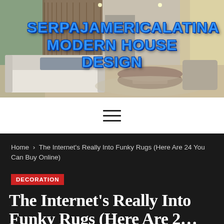[Figure (photo): Modern living room interior with white sectional sofa, round wooden coffee table, light hardwood floors, large windows, and staircase in background]
SERPAJAMERICALATINA MODERN HOUSE DESIGN
[Figure (other): Hamburger menu icon with three horizontal lines]
Home > The Internet's Really Into Funky Rugs (Here Are 24 You Can Buy Online)
DECORATION
The Internet's Really Into Funky Rugs (Here Are 24 You Can Buy Online)